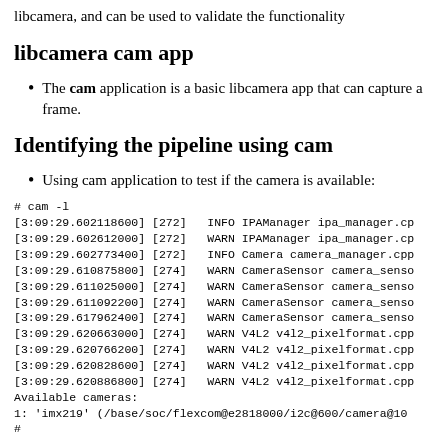libcamera, and can be used to validate the functionality
libcamera cam app
The cam application is a basic libcamera app that can capture a frame.
Identifying the pipeline using cam
Using cam application to test if the camera is available:
# cam -l
[3:09:29.602118600] [272]   INFO IPAManager ipa_manager.cp
[3:09:29.602612000] [272]   WARN IPAManager ipa_manager.cp
[3:09:29.602773400] [272]   INFO Camera camera_manager.cpp
[3:09:29.610875800] [274]   WARN CameraSensor camera_senso
[3:09:29.611025000] [274]   WARN CameraSensor camera_senso
[3:09:29.611092200] [274]   WARN CameraSensor camera_senso
[3:09:29.617962400] [274]   WARN CameraSensor camera_senso
[3:09:29.620663000] [274]   WARN V4L2 v4l2_pixelformat.cpp
[3:09:29.620766200] [274]   WARN V4L2 v4l2_pixelformat.cpp
[3:09:29.620828600] [274]   WARN V4L2 v4l2_pixelformat.cpp
[3:09:29.620886800] [274]   WARN V4L2 v4l2_pixelformat.cpp
Available cameras:
1: 'imx219' (/base/soc/flexcom@e2818000/i2c@600/camera@10
#